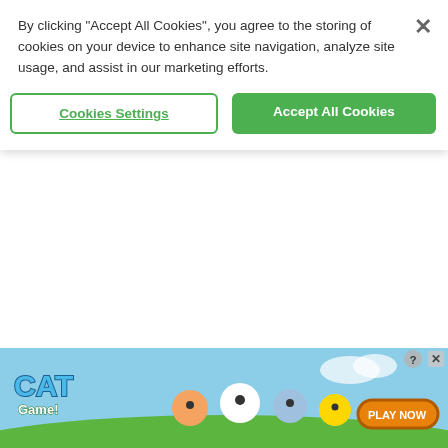By clicking “Accept All Cookies”, you agree to the storing of cookies on your device to enhance site navigation, analyze site usage, and assist in our marketing efforts.
[Figure (screenshot): Cookie consent dialog with two buttons: 'Cookies Settings' (outlined green) and 'Accept All Cookies' (solid green), plus an X close button in the top right.]
[Figure (bar-chart): Partially visible bar chart with rotated x-axis labels: Puertasaurus, Antarctosaurus, Argentinosaurus, Elaltitan(?), Paralititan, Futalognkosaurus, Dreadnoughtus]
Lacovara Lab, Drexel University
Answering this question will be the next challenge for the impressive team of palaeontologists who
[Figure (screenshot): Cat Game mobile advertisement banner at the bottom of the page showing cartoon cats and a 'PLAY NOW' button on an orange rounded rectangle.]